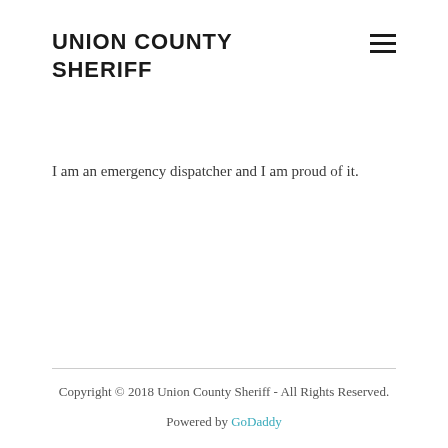UNION COUNTY SHERIFF
I am an emergency dispatcher and I am proud of it.
Copyright © 2018 Union County Sheriff - All Rights Reserved.
Powered by GoDaddy
Home